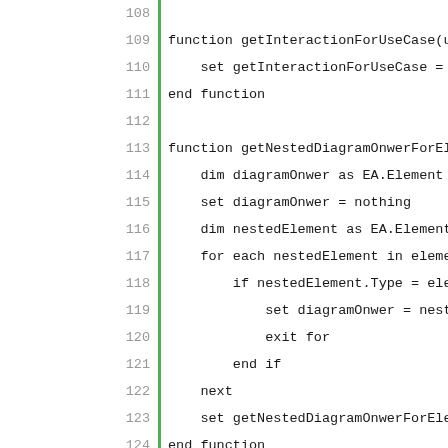[Figure (screenshot): Source code editor showing VBScript/VBA code lines 108-137, with line numbers in gray on the left, a green vertical bar separator, and code in monospace font. A comment on line 127 is shown in green.]